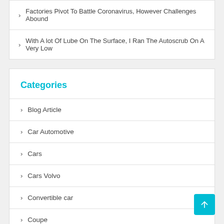Factories Pivot To Battle Coronavirus, However Challenges Abound
With A lot Of Lube On The Surface, I Ran The Autoscrub On A Very Low
Categories
Blog Article
Car Automotive
Cars
Cars Volvo
Convertible car
Coupe
Engine